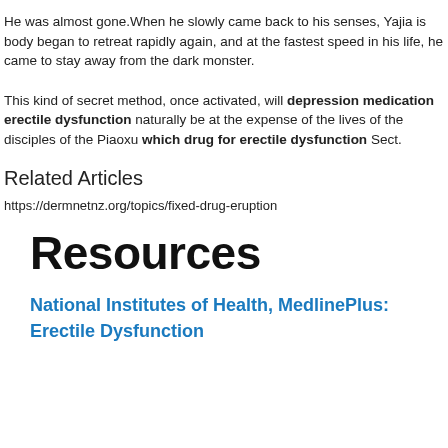He was almost gone.When he slowly came back to his senses, Yajia is body began to retreat rapidly again, and at the fastest speed in his life, he came to stay away from the dark monster.
This kind of secret method, once activated, will depression medication erectile dysfunction naturally be at the expense of the lives of the disciples of the Piaoxu which drug for erectile dysfunction Sect.
Related Articles
https://dermnetnz.org/topics/fixed-drug-eruption
Resources
National Institutes of Health, MedlinePlus: Erectile Dysfunction